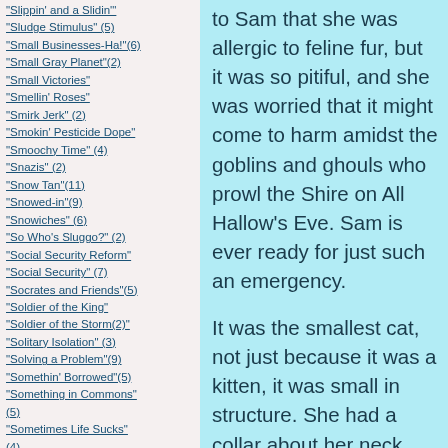"Slippin' and a Slidin'"
"Sludge Stimulus" (5)
"Small Businesses-Ha!"(6)
"Small Gray Planet"(2)
"Small Victories"
"Smellin' Roses"
"Smirk Jerk" (2)
"Smokin' Pesticide Dope"
"Smoochy Time" (4)
"Snazis" (2)
"Snow Tan"(11)
"Snowed-in"(9)
"Snowiches" (6)
"So Who's Sluggo?" (2)
"Social Security Reform"
"Social Security" (7)
"Socrates and Friends"(5)
"Soldier of the King"
"Soldier of the Storm(2)"
"Solitary Isolation" (3)
"Solving a Problem"(9)
"Somethin' Borrowed"(5)
"Something in Commons" (5)
"Sometimes Life Sucks" (4)
"Sorcerer's Apprentice"
"Soul Train" (5)
to Sam that she was allergic to feline fur, but it was so pitiful, and she was worried that it might come to harm amidst the goblins and ghouls who prowl the Shire on All Hallow's Eve. Sam is ever ready for just such an emergency.

It was the smallest cat, not just because it was a kitten, it was small in structure. She had a collar about her neck, and a tag with a number. The reverse of the tag identified the local humane society. Sam called the humane society, and was told that a kitten so numbered had been adopted less than 48 hours ago by the residents who lived across the street